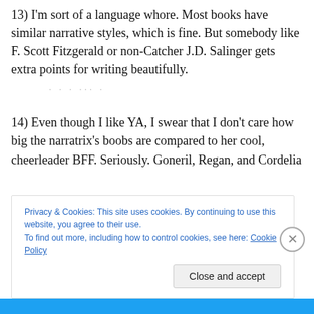13) I'm sort of a language whore. Most books have similar narrative styles, which is fine. But somebody like F. Scott Fitzgerald or non-Catcher J.D. Salinger gets extra points for writing beautifully.
14) Even though I like YA, I swear that I don't care how big the narratrix's boobs are compared to her cool, cheerleader BFF. Seriously. Goneril, Regan, and Cordelia
Privacy & Cookies: This site uses cookies. By continuing to use this website, you agree to their use.
To find out more, including how to control cookies, see here: Cookie Policy